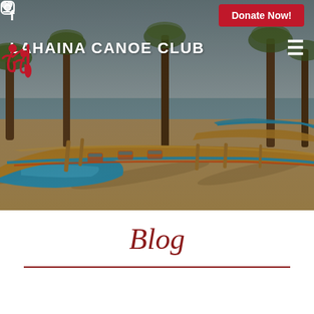[Figure (screenshot): Lahaina Canoe Club website screenshot showing a hero image of outrigger canoes on a beach with palm trees and ocean in background. Top bar has Facebook and Instagram social icons on left, and a red Donate Now button on right. Below is the Lahaina Canoe Club logo (red figure icon) with white text, and a hamburger menu icon on right.]
Blog